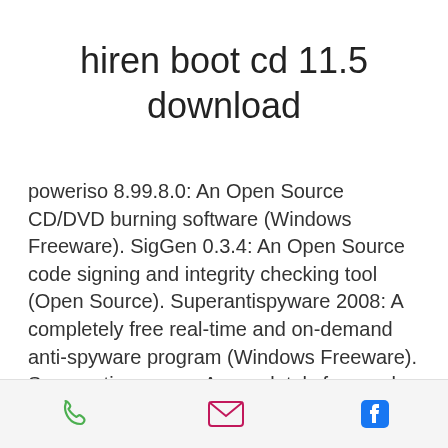hiren boot cd 11.5 download
poweriso 8.99.8.0: An Open Source CD/DVD burning software (Windows Freeware). SigGen 0.3.4: An Open Source code signing and integrity checking tool (Open Source). Superantispyware 2008: A completely free real-time and on-demand anti-spyware program (Windows Freeware). Superantispyware : A completely free real-time and on-demand anti-spyware program. Vundo Removal Tool 2.2: A standalone anti-virus and anti-spyware. Category:Antivirus softwareQ:
[Figure (other): Mobile app footer bar with phone icon (green), email icon (pink/magenta), and Facebook icon (blue)]